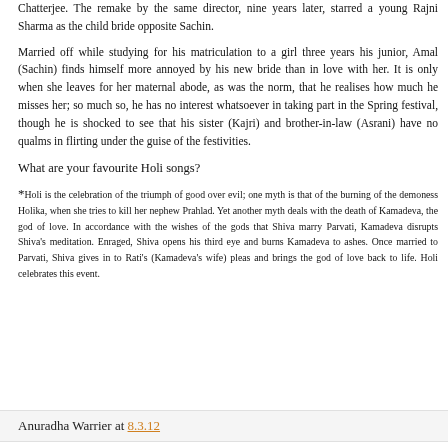Chatterjee. The remake by the same director, nine years later, starred a young Rajni Sharma as the child bride opposite Sachin.
Married off while studying for his matriculation to a girl three years his junior, Amal (Sachin) finds himself more annoyed by his new bride than in love with her. It is only when she leaves for her maternal abode, as was the norm, that he realises how much he misses her; so much so, he has no interest whatsoever in taking part in the Spring festival, though he is shocked to see that his sister (Kajri) and brother-in-law (Asrani) have no qualms in flirting under the guise of the festivities.
What are your favourite Holi songs?
*Holi is the celebration of the triumph of good over evil; one myth is that of the burning of the demoness Holika, when she tries to kill her nephew Prahlad. Yet another myth deals with the death of Kamadeva, the god of love. In accordance with the wishes of the gods that Shiva marry Parvati, Kamadeva disrupts Shiva's meditation. Enraged, Shiva opens his third eye and burns Kamadeva to ashes. Once married to Parvati, Shiva gives in to Rati's (Kamadeva's wife) pleas and brings the god of love back to life. Holi celebrates this event.
Anuradha Warrier at 8.3.12